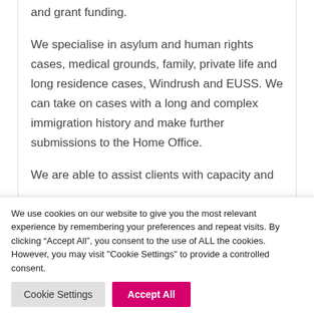and grant funding.
We specialise in asylum and human rights cases, medical grounds, family, private life and long residence cases, Windrush and EUSS. We can take on cases with a long and complex immigration history and make further submissions to the Home Office.
We are able to assist clients with capacity and
We use cookies on our website to give you the most relevant experience by remembering your preferences and repeat visits. By clicking "Accept All", you consent to the use of ALL the cookies. However, you may visit "Cookie Settings" to provide a controlled consent.